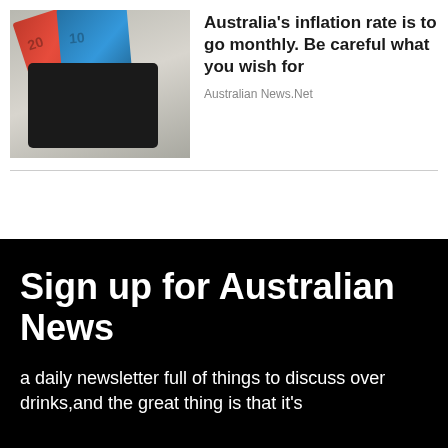[Figure (photo): Photo of a black wallet with Australian banknotes (red and blue) sticking out, against a light grey background]
Australia's inflation rate is to go monthly. Be careful what you wish for
Australian News.Net
Sign up for Australian News
a daily newsletter full of things to discuss over drinks,and the great thing is that it's